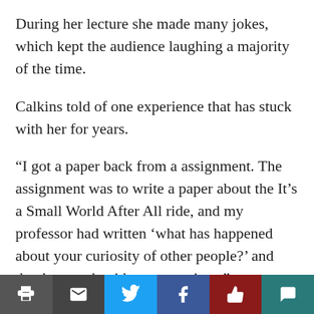During her lecture she made many jokes, which kept the audience laughing a majority of the time.
Calkins told of one experience that has stuck with her for years.
“I got a paper back from a assignment. The assignment was to write a paper about the It’s a Small World After All ride, and my professor had written ‘what has happened about your curiosity of other people?’ and that has stuck with me ever since.”
That is when she realized the most important things to America are similarities. She tries to combat seeing only similarities by finding cultural middle ground. Rather than smiling as a greeting, which is the typical thing to do here